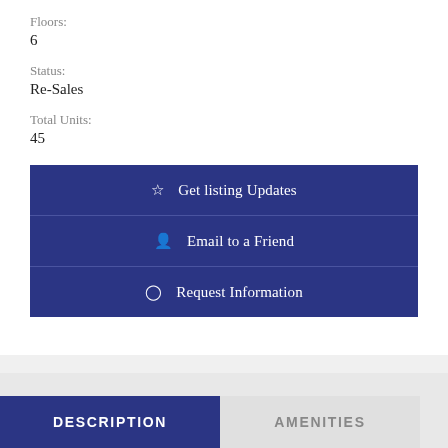Floors:
6
Status:
Re-Sales
Total Units:
45
☆  Get listing Updates
👥  Email to a Friend
💬  Request Information
DESCRIPTION
AMENITIES